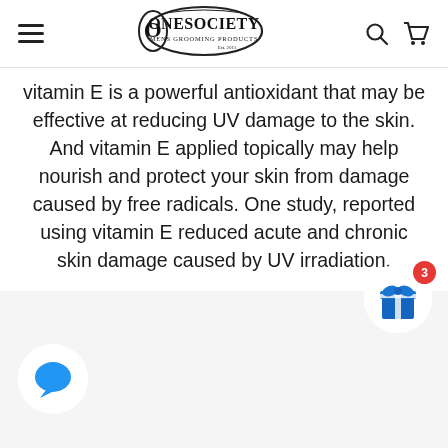OneSociety Mens Grooming Products Est. 2011 [navigation bar with hamburger menu, logo, search and cart icons]
Vitamin E is a powerful antioxidant that may be effective at reducing UV damage to the skin. And vitamin E applied topically may help nourish and protect your skin from damage caused by free radicals. One study, reported using vitamin E reduced acute and chronic skin damage caused by UV irradiation.
[Figure (other): Gift/rewards widget with blue gift box icon and red badge showing the number 3]
[Figure (other): Chat widget button with blue speech bubble icon]